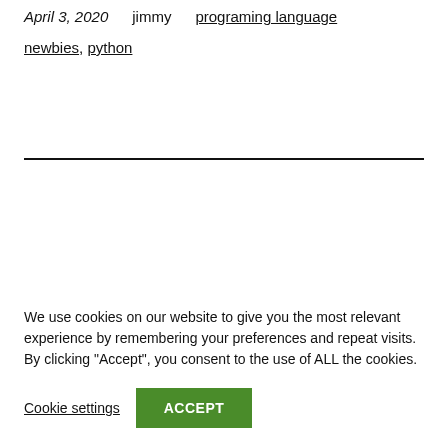April 3, 2020   jimmy   programing language
newbies, python
We use cookies on our website to give you the most relevant experience by remembering your preferences and repeat visits. By clicking “Accept”, you consent to the use of ALL the cookies.
Cookie settings   ACCEPT